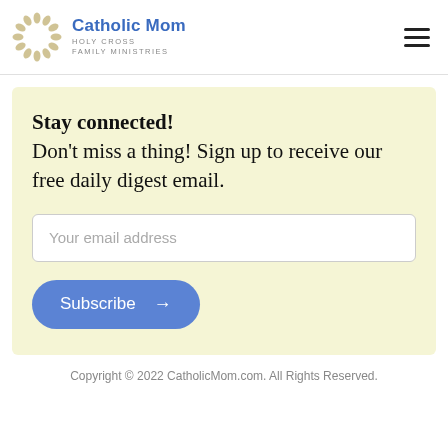[Figure (logo): Catholic Mom logo with decorative circular wreath icon, blue text 'Catholic Mom' and gray subtitle 'HOLY CROSS FAMILY MINISTRIES']
Stay connected!
Don't miss a thing! Sign up to receive our free daily digest email.
Your email address
Subscribe →
Copyright © 2022 CatholicMom.com. All Rights Reserved.